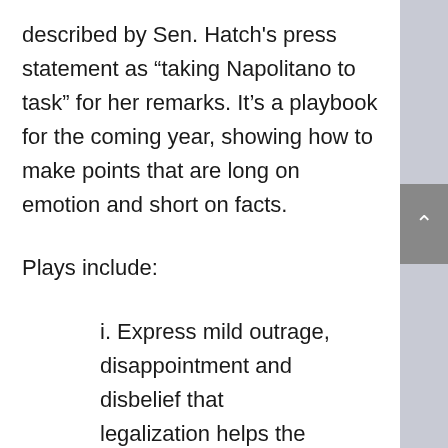described by Sen. Hatch's press statement as “taking Napolitano to task” for her remarks. It’s a playbook for the coming year, showing how to make points that are long on emotion and short on facts.
Plays include:
i. Express mild outrage, disappointment and disbelief that legalization helps the economy.